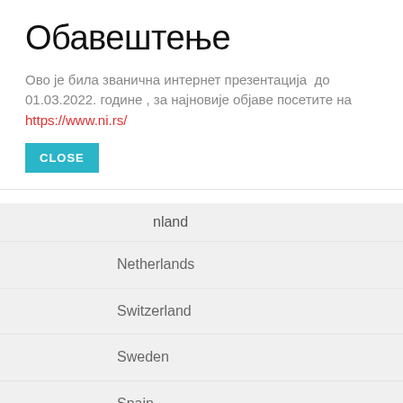Обавештење
Ово је била званична интернет презентација  до 01.03.2022. године , за најновије објаве посетите на https://www.ni.rs/
nland
Netherlands
Switzerland
Sweden
Spain
To search type and hit enter